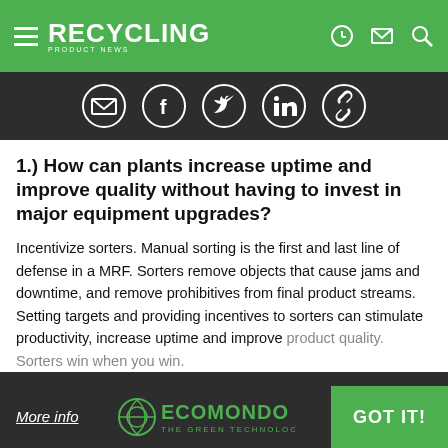RECYCLING PRODUCT NEWS
[Figure (infographic): Social sharing icons: email, facebook, twitter, linkedin, link]
1.) How can plants increase uptime and improve quality without having to invest in major equipment upgrades?
Incentivize sorters. Manual sorting is the first and last line of defense in a MRF. Sorters remove objects that cause jams and downtime, and remove prohibitives from final product streams. Setting targets and providing incentives to sorters can stimulate productivity, increase uptime and improve product quality. Sorters win when you win.
We use cookies to enhance your experience.
By continuing to visit this site you agree to our use of cookies.
More info   ECOMONDO THE GREEN TECHNOLOGY   GOT IT!